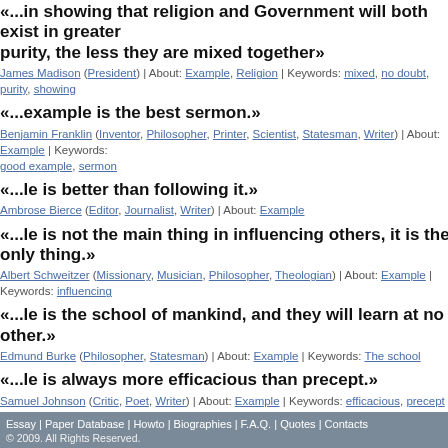«...in showing that religion and Government will both exist in greater purity, the less they are mixed together»
James Madison (President) | About: Example, Religion | Keywords: mixed, no doubt, purity, showing
«...example is the best sermon.»
Benjamin Franklin (Inventor, Philosopher, Printer, Scientist, Statesman, Writer) | About: Example | Keywords: good example, sermon
«...le is better than following it.»
Ambrose Bierce (Editor, Journalist, Writer) | About: Example
«...le is not the main thing in influencing others, it is the only thing.»
Albert Schweitzer (Missionary, Musician, Philosopher, Theologian) | About: Example | Keywords: influencing
«...le is the school of mankind, and they will learn at no other.»
Edmund Burke (Philosopher, Statesman) | About: Example | Keywords: The school
«...le is always more efficacious than precept.»
Samuel Johnson (Critic, Poet, Writer) | About: Example | Keywords: efficacious, precept
Pages: 1 2 3 Next »
Search our database of over 800,000 top-quality pre-written papers plus 15,000 biographies for only $9.95/month. Instant Account Activation. Register Now.
Essay | Paper Database | Howto | Biographies | F.A.Q. | Quotes | Contacts © 2009. All Rights Reserved.